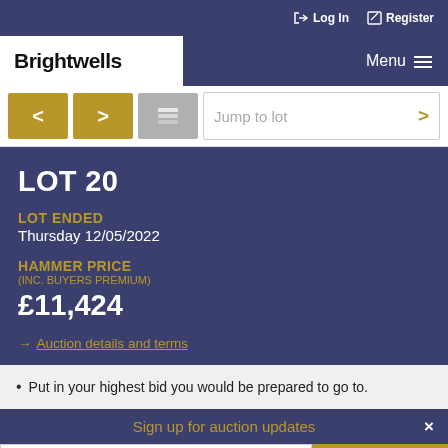Log In   Register
Brightwells
Menu
< > [layers icon] Jump to lot >
LOT 20
LOT ENDED
Thursday 12/05/2022
HAMMER PRICE
(INC. BUYERS PREMIUM)
£11,424
→ Auction details and terms
Put in your highest bid you would be prepared to go to.
Sign up for auction updates
Email
SUBSCRIBE